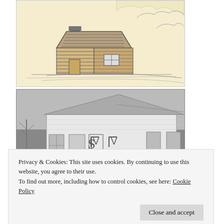[Figure (illustration): Pencil sketch illustration of a small log cabin with chimney, set against a cloudy sky background, on a cream/yellow background]
[Figure (photo): Black and white photograph of a white wooden lodge or hall building with Masonic square and compasses symbols on the front facade, gabled roof, and bare trees in background]
Privacy & Cookies: This site uses cookies. By continuing to use this website, you agree to their use.
To find out more, including how to control cookies, see here: Cookie Policy
Close and accept
first floor was used as a classroom at times, and for community work projects.